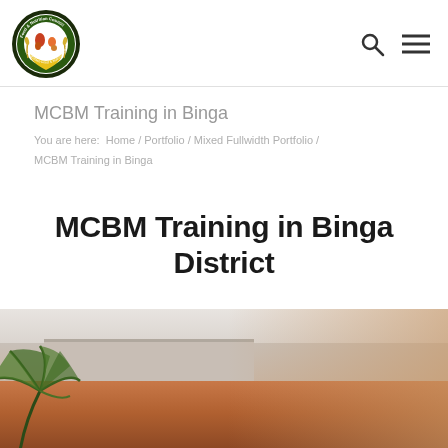Food & Nutrition Council – site header with logo and navigation icons
MCBM Training in Binga
You are here: Home / Portfolio / Mixed Fullwidth Portfolio / MCBM Training in Binga
MCBM Training in Binga District
[Figure (photo): Outdoor scene showing a building with a terracotta/orange-brown exterior wall, pale sky, and palm tree leaves in the foreground lower-left. Likely a training venue in Binga District, Zimbabwe.]